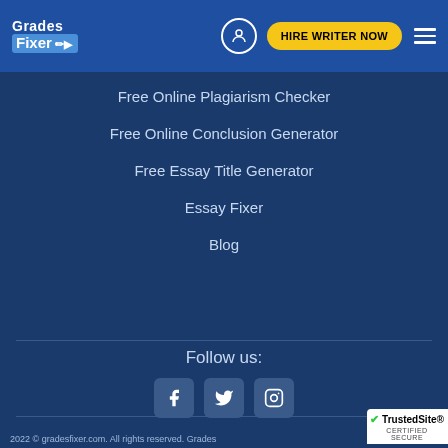Grades Fixer | HIRE WRITER NOW
Free Online Plagiarism Checker
Free Online Conclusion Generator
Free Essay Title Generator
Essay Fixer
Blog
Follow us:
[Figure (illustration): Social media icons: Facebook, Twitter, Instagram]
2022 © gradesfixer.com. All rights reserved. Grades
[Figure (logo): TrustedSite CERTIFIED SECURE badge]